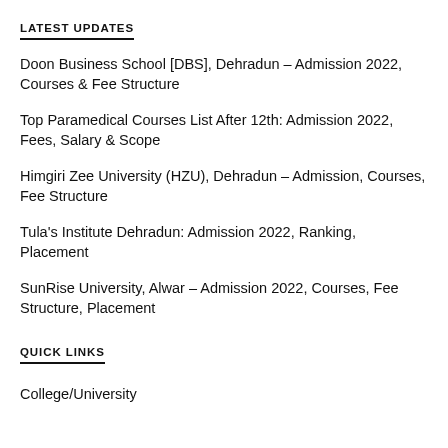LATEST UPDATES
Doon Business School [DBS], Dehradun – Admission 2022, Courses & Fee Structure
Top Paramedical Courses List After 12th: Admission 2022, Fees, Salary & Scope
Himgiri Zee University (HZU), Dehradun – Admission, Courses, Fee Structure
Tula's Institute Dehradun: Admission 2022, Ranking, Placement
SunRise University, Alwar – Admission 2022, Courses, Fee Structure, Placement
QUICK LINKS
College/University